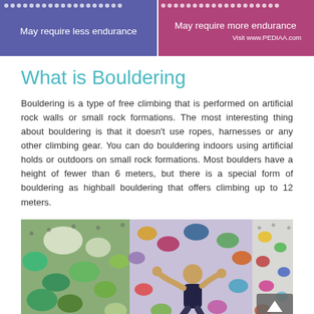May require less endurance
May require more endurance
Visit www.PEDIAA.com
What is Bouldering
Bouldering is a type of free climbing that is performed on artificial rock walls or small rock formations. The most interesting thing about bouldering is that it doesn't use ropes, harnesses or any other climbing gear. You can do bouldering indoors using artificial holds or outdoors on small rock formations. Most boulders have a height of fewer than 6 meters, but there is a special form of bouldering as highball bouldering that offers climbing up to 12 meters.
[Figure (photo): Photo collage of indoor bouldering gym showing colorful climbing holds on walls, and a person climbing]